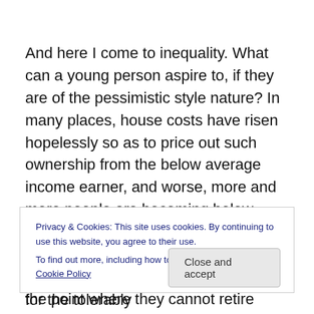And here I come to inequality. What can a young person aspire to, if they are of the pessimistic style nature? In many places, house costs have risen hopelessly so as to price out such ownership from the below average income earner, and worse, more and more people are becoming below average. That is because all the wealth has rocketed into the hands of a few. They see the elderly coming to the point where they cannot retire because they cannot afford to. It is all very well to say that the elderly
Privacy & Cookies: This site uses cookies. By continuing to use this website, you agree to their use.
To find out more, including how to control cookies, see here: Cookie Policy
Close and accept
society are we if there is no way out for the tolerably